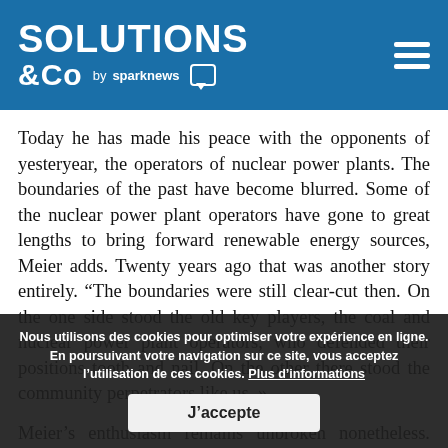SOLUTIONS &Co by sparknews
Today he has made his peace with the opponents of yesteryear, the operators of nuclear power plants. The boundaries of the past have become blurred. Some of the nuclear power plant operators have gone to great lengths to bring forward renewable energy sources, Meier adds. Twenty years ago that was another story entirely. “The boundaries were still clear-cut then. On the one side stood the old key players, the coal and nuclear power plant operators, who defended their positions tooth and nail. On the other there stood the community perpetrators like us. »
Meier's enthusiasm remains unbroken nonetheless. Germany is a great market for wpd as it has always have the incredible opportunity to be in a position to show everyone here that it works. We can supply an industrialised country
Nous utilisons des cookies pour optimiser votre expérience en ligne. En poursuivant votre navigation sur ce site, vous acceptez l’utilisation de ces cookies. Plus d’informations